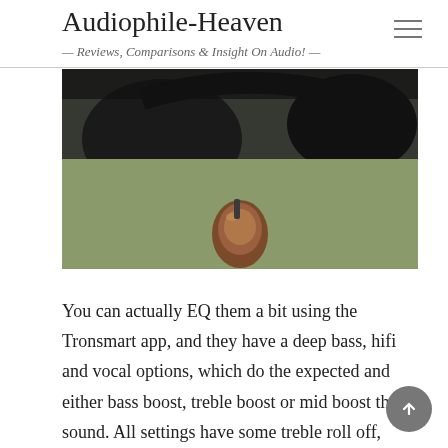Audiophile-Heaven — Reviews, Comparisons & Insight On Audio! —
[Figure (photo): Close-up photo of over-ear headphones (black) alongside a small copper/bronze IEM earphone, on a blurred green background]
You can actually EQ them a bit using the Tronsmart app, and they have a deep bass, hifi and vocal options, which do the expected and either bass boost, treble boost or mid boost the sound. All settings have some treble roll off, and all of the settings have some bass roll off, but the bass can reach as low as about 40 Hz, while the treble starts rolling off around 9kHz.